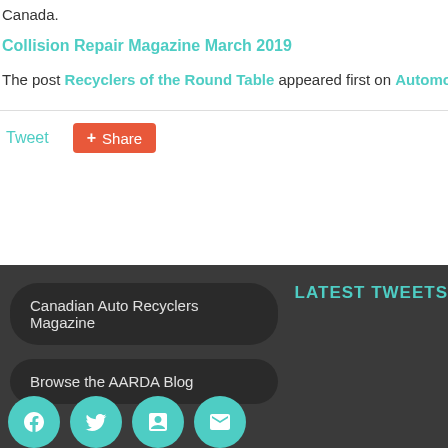Canada.
Collision Repair Magazine March 2019
The post Recyclers of the Round Table appeared first on Automotive R
Tweet
Share
Canadian Auto Recyclers Magazine
Browse the AARDA Blog
LATEST TWEETS